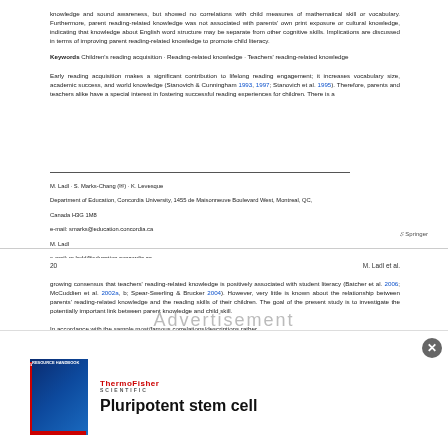knowledge and sound awareness, but showed no correlations with child measures of mathematical skill or vocabulary. Furthermore, parent reading-related knowledge was not associated with parents' own print exposure or cultural knowledge, indicating that knowledge about English word structure may be separate from other cognitive skills. Implications are discussed in terms of improving parent reading-related knowledge to promote child literacy.
Keywords Children's reading acquisition; Reading-related knowledge; Teachers' reading-related knowledge
Early reading acquisition makes a significant contribution to lifelong reading engagement; it increases vocabulary size, academic success, and world knowledge (Stanovich & Cunningham 1993, 1997; Stanovich et al. 1995). Therefore, parents and teachers alike have a special interest in fostering successful reading experiences for children. There is a
M. Ladl · S. Marks-Chang (✉) · K. Levesque
Department of Education, Concordia University, 1455 de Maisonneuve Boulevard West, Montreal, QC, Canada H3G 1M8
e-mail: smarks@education.concordia.ca
M. Ladl
e-mail: m.ladd@education.concordia.ca
K. Levesque
e-mail: kyle.levesque@ddi.ca
20                M. Ladl et al.
growing consensus that teachers' reading-related knowledge is positively associated with student literacy (Batcher et al. 2006; McCuddien et al. 2002a, b; Spear-Swerling & Brucker 2004). However, very little is known about the relationship between parents' reading-related knowledge and the reading skills of their children. The goal of the present study is to investigate the potentially important link between parent knowledge and child skill.
[Figure (advertisement): Thermo Fisher Scientific advertisement showing a Pluripotent Stem Cell Resource Handbook book cover with a blue cell sphere image, ThermoFisher Scientific logo, and text 'Pluripotent stem cell']